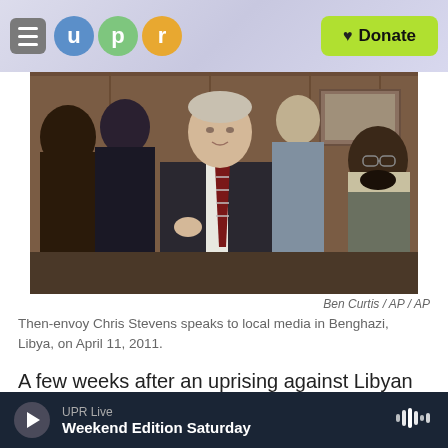UPR — Donate
[Figure (photo): Then-envoy Chris Stevens speaks to local media in Benghazi, Libya; a man in a suit with a striped tie gestures while surrounded by people]
Ben Curtis / AP / AP
Then-envoy Chris Stevens speaks to local media in Benghazi, Libya, on April 11, 2011.
A few weeks after an uprising against Libyan leader Moammar Gadhafi began in February 2011, U.S. envoy Chris Stevens arrives in Benghazi by
UPR Live — Weekend Edition Saturday